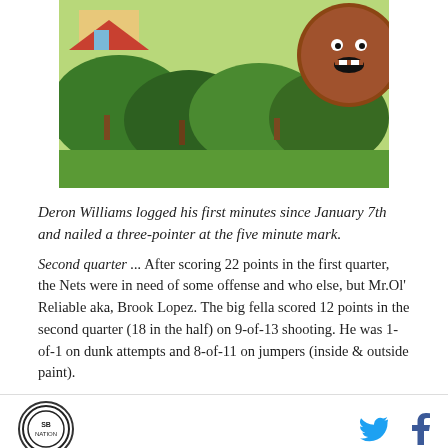[Figure (illustration): Colorful illustrated image with green landscape background and a round brown character face visible at top right]
Deron Williams logged his first minutes since January 7th and nailed a three-pointer at the five minute mark.
Second quarter ... After scoring 22 points in the first quarter, the Nets were in need of some offense and who else, but Mr.Ol' Reliable aka, Brook Lopez. The big fella scored 12 points in the second quarter (18 in the half) on 9-of-13 shooting. He was 1-of-1 on dunk attempts and 8-of-11 on jumpers (inside & outside paint).
Logo | Twitter | Facebook